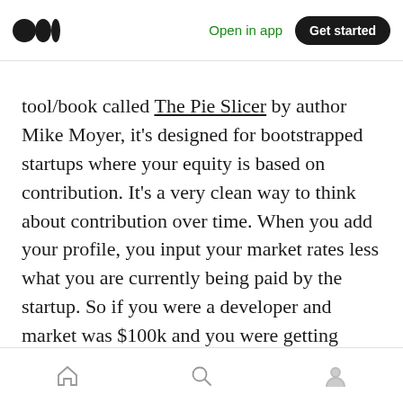Open in app | Get started
tool/book called The Pie Slicer by author Mike Moyer, it's designed for bootstrapped startups where your equity is based on contribution. It's a very clean way to think about contribution over time. When you add your profile, you input your market rates less what you are currently being paid by the startup. So if you were a developer and market was $100k and you were getting $4,166/month you'd be getting 50% of market rate (I like simple math when I can).
Home | Search | Profile